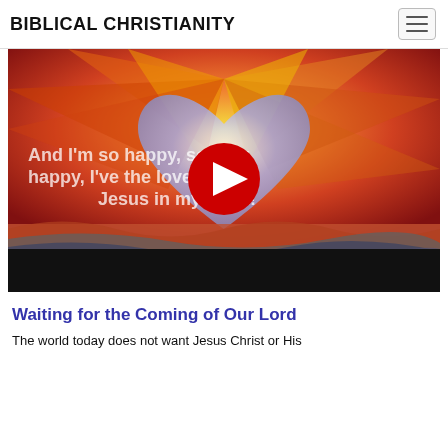BIBLICAL CHRISTIANITY
[Figure (screenshot): YouTube video thumbnail showing a colorful painting of a heart with sunrays in warm colors, with text overlay reading 'And I'm so happy, so very happy, I've the love of Jesus in my heart!' and a YouTube play button in the center. Bottom portion has a black bar.]
Waiting for the Coming of Our Lord
The world today does not want Jesus Christ or His